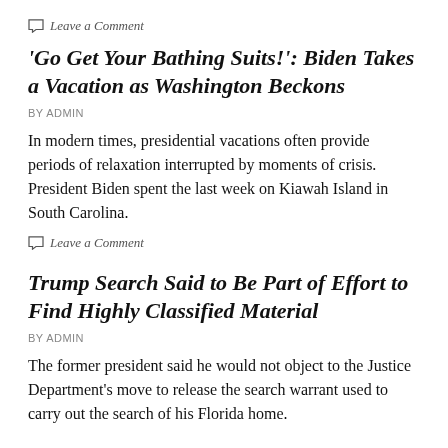Leave a Comment
'Go Get Your Bathing Suits!': Biden Takes a Vacation as Washington Beckons
BY ADMIN
In modern times, presidential vacations often provide periods of relaxation interrupted by moments of crisis. President Biden spent the last week on Kiawah Island in South Carolina.
Leave a Comment
Trump Search Said to Be Part of Effort to Find Highly Classified Material
BY ADMIN
The former president said he would not object to the Justice Department's move to release the search warrant used to carry out the search of his Florida home.